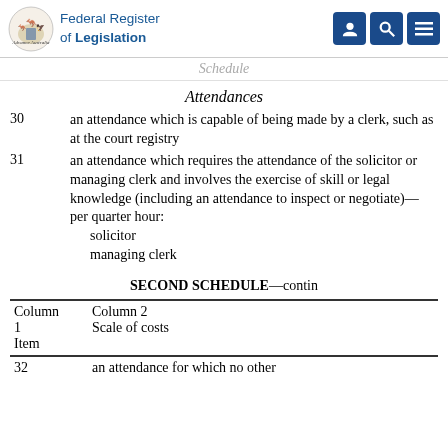Federal Register of Legislation
Schedule
Attendances
30   an attendance which is capable of being made by a clerk, such as at the court registry
31   an attendance which requires the attendance of the solicitor or managing clerk and involves the exercise of skill or legal knowledge (including an attendance to inspect or negotiate)—per quarter hour: solicitor managing clerk
SECOND SCHEDULE—contin
| Column 1 Item | Column 2 Scale of costs |
| --- | --- |
| 32 | an attendance for which no other |